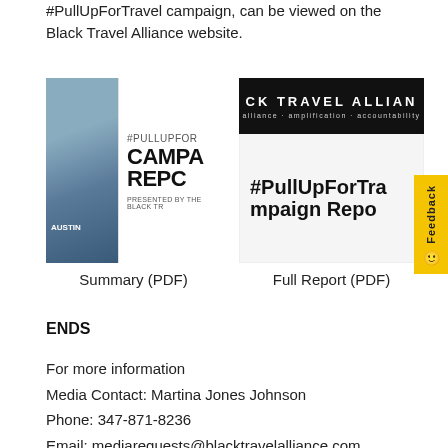#PullUpForTravel campaign, can be viewed on the Black Travel Alliance website.
[Figure (other): Two document thumbnails side by side. Left: a campaign report cover showing a photo and text '#PULLUPFOR CAMPA REPC PRESENTED BY THE BLACK TR'. Right: A Black Travel Alliance banner logo and a large text panel reading '#PullUpForTra mpaign Repo'. Below left thumbnail: 'Summary (PDF)'. Below right thumbnail: 'Full Report (PDF)'.]
ENDS
For more information
Media Contact: Martina Jones Johnson
Phone: 347-871-8236
Email: mediarequests@blacktravelalliance.com